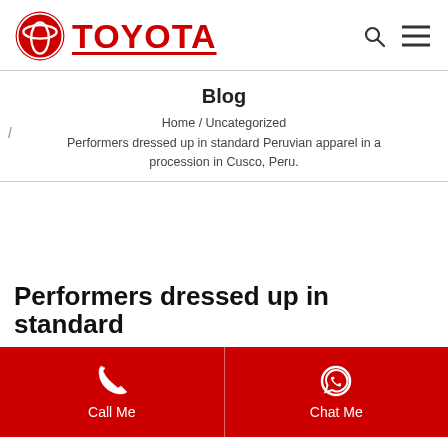TOYOTA
Blog
Home / Uncategorized
Performers dressed up in standard Peruvian apparel in a procession in Cusco, Peru.
Performers dressed up in standard
Call Me | Chat Me